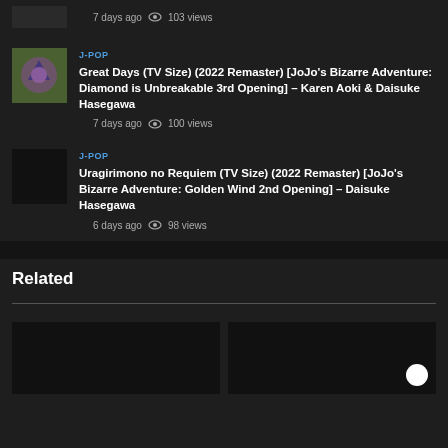7 days ago  103 views
J-POP
Great Days (TV Size) (2022 Remaster) [JoJo's Bizarre Adventure: Diamond is Unbreakable 3rd Opening] – Karen Aoki & Daisuke Hasegawa
7 days ago  100 views
J-POP
Uragirimono no Requiem (TV Size) (2022 Remaster) [JoJo's Bizarre Adventure: Golden Wind 2nd Opening] – Daisuke Hasegawa
6 days ago  98 views
Related
[Figure (screenshot): Two dark video thumbnails side by side in the Related section; right thumbnail has a white circular play button in bottom-right corner]